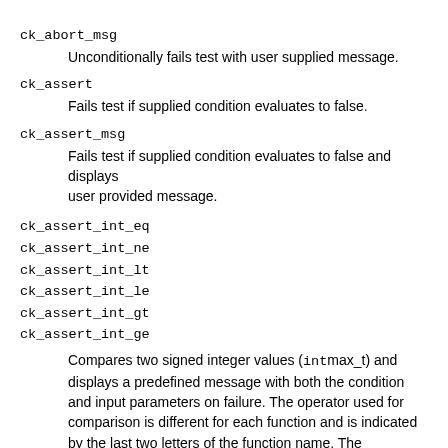ck_abort_msg
Unconditionally fails test with user supplied message.
ck_assert
Fails test if supplied condition evaluates to false.
ck_assert_msg
Fails test if supplied condition evaluates to false and displays user provided message.
ck_assert_int_eq
ck_assert_int_ne
ck_assert_int_lt
ck_assert_int_le
ck_assert_int_gt
ck_assert_int_ge
Compares two signed integer values (intmax_t) and displays a predefined message with both the condition and input parameters on failure. The operator used for comparison is different for each function and is indicated by the last two letters of the function name. The abbreviations eq, ne, lt, le, gt, and ge correspond to ==, !=, <, <=, >, and >= respectively.